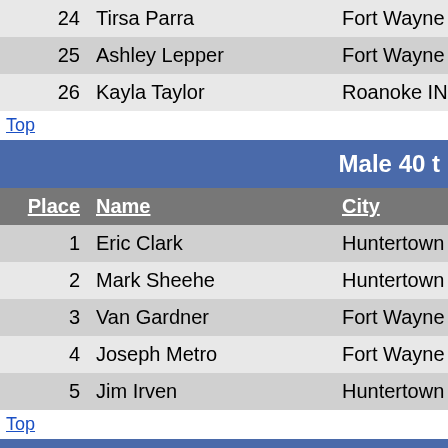| Place | Name | City |
| --- | --- | --- |
| 24 | Tirsa Parra | Fort Wayne IN |
| 25 | Ashley Lepper | Fort Wayne IN |
| 26 | Kayla Taylor | Roanoke IN |
Top
Male 40 t
| Place | Name | City |
| --- | --- | --- |
| 1 | Eric Clark | Huntertown IN |
| 2 | Mark Sheehe | Huntertown IN |
| 3 | Van Gardner | Fort Wayne IN |
| 4 | Joseph Metro | Fort Wayne IN |
| 5 | Jim Irven | Huntertown IN |
Top
Female 40
| Place | Name | City |
| --- | --- | --- |
| 1 | Jessica Lebrato | Fort Wayne IN |
| 2 | Julie Bock | Columbia City IN |